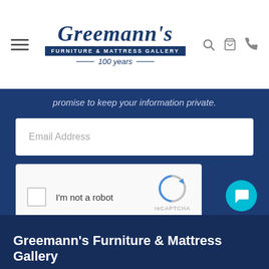[Figure (logo): Greemann's Furniture & Mattress Gallery logo with '100 years' tagline]
promise to keep your information private.
Email Address
[Figure (other): reCAPTCHA widget with checkbox, 'I'm not a robot' text, and reCAPTCHA logo]
SIGN ME UP
Greemann's Furniture & Mattress Gallery